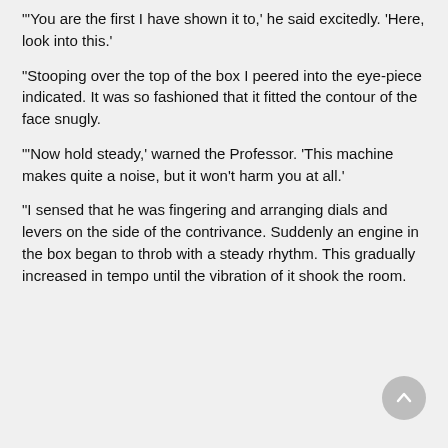'You are the first I have shown it to,' he said excitedly. 'Here, look into this.'
"Stooping over the top of the box I peered into the eye-piece indicated. It was so fashioned that it fitted the contour of the face snugly.
"'Now hold steady,' warned the Professor. 'This machine makes quite a noise, but it won't harm you at all.'
"I sensed that he was fingering and arranging dials and levers on the side of the contrivance. Suddenly an engine in the box began to throb with a steady rhythm. This gradually increased in tempo until the vibration of it shook the room.